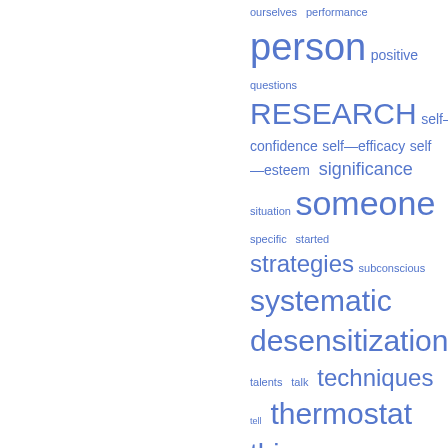[Figure (other): Word cloud / tag cloud with terms related to psychology and self-improvement in various sizes, all in blue. Partial view showing words from 'ourselves' through 'Write'. Larger words include 'person', 'RESEARCH', 'someone', 'systematic desensitization', 'thermostat', 'things', 'Vincent Van Gogh'. Smaller words include 'performance', 'positive', 'questions', 'self—confidence', 'self—efficacy', 'self—esteem', 'significance', 'situation', 'specific', 'started', 'strategies', 'subconscious', 'talents', 'talk', 'techniques', 'tell', 'thought—stopping', 'thoughts', 'walk', 'woman', 'Write'.]